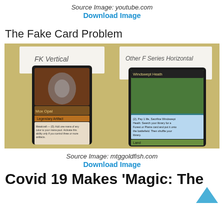Source Image: youtube.com
Download Image
The Fake Card Problem
[Figure (photo): Two Magic: The Gathering cards laid on a patterned surface. Left card labeled 'FK Vertical' on a paper note behind it shows 'Mox Opal', a Legendary Artifact card. Right card labeled 'Other F Series Horizontal' on a paper note shows 'Windswept Heath', a Land card.]
Source Image: mtggoldfish.com
Download Image
Covid 19 Makes 'Magic: The